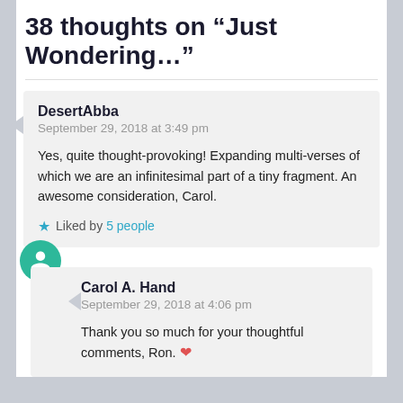38 thoughts on “Just Wondering…”
DesertAbba
September 29, 2018 at 3:49 pm

Yes, quite thought-provoking! Expanding multi-verses of which we are an infinitesimal part of a tiny fragment. An awesome consideration, Carol.

Liked by 5 people
Carol A. Hand
September 29, 2018 at 4:06 pm

Thank you so much for your thoughtful comments, Ron. ❤️